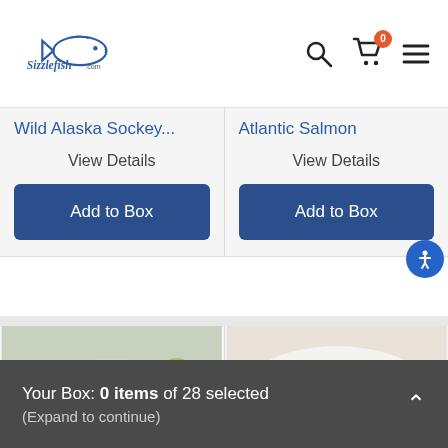Sizzlefish.com
Wild Alaska Sockey...
View Details
Add to Box
Atlantic Salmon
View Details
Add to Box
[Figure (photo): Grilled white fish fillet with lime slices on a striped cloth]
[Figure (photo): Cooked salmon fillet with green beans and lemon slices]
Your Box: 0 items of 28 selected (Expand to continue)